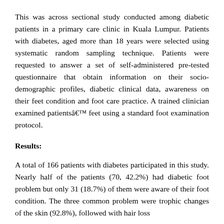This was across sectional study conducted among diabetic patients in a primary care clinic in Kuala Lumpur. Patients with diabetes, aged more than 18 years were selected using systematic random sampling technique. Patients were requested to answer a set of self-administered pre-tested questionnaire that obtain information on their socio-demographic profiles, diabetic clinical data, awareness on their feet condition and foot care practice. A trained clinician examined patientsâ€™ feet using a standard foot examination protocol.
Results:
A total of 166 patients with diabetes participated in this study. Nearly half of the patients (70, 42.2%) had diabetic foot problem but only 31 (18.7%) of them were aware of their foot condition. The three common problem were trophic changes of the skin (92.8%), followed with hair loss